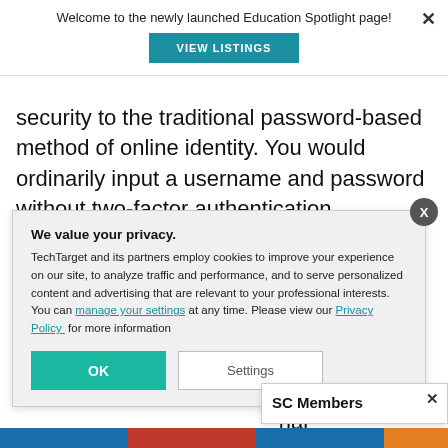Welcome to the newly launched Education Spotlight page!
VIEW LISTINGS
security to the traditional password-based method of online identity. You would ordinarily input a username and password without two-factor authentication. However, if be asked to uch as a Personal even your assword, you'll nal uthentication
We value your privacy.
TechTarget and its partners employ cookies to improve your experience on our site, to analyze traffic and performance, and to serve personalized content and advertising that are relevant to your professional interests. You can manage your settings at any time. Please view our Privacy Policy for more information
OK
Settings
SC Members